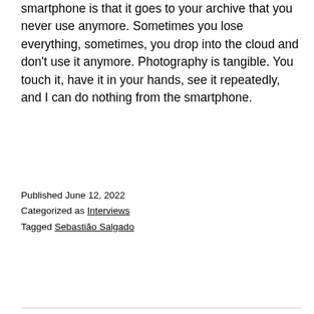smartphone is that it goes to your archive that you never use anymore. Sometimes you lose everything, sometimes, you drop into the cloud and don't use it anymore. Photography is tangible. You touch it, have it in your hands, see it repeatedly, and I can do nothing from the smartphone.
Published June 12, 2022
Categorized as Interviews
Tagged Sebastião Salgado